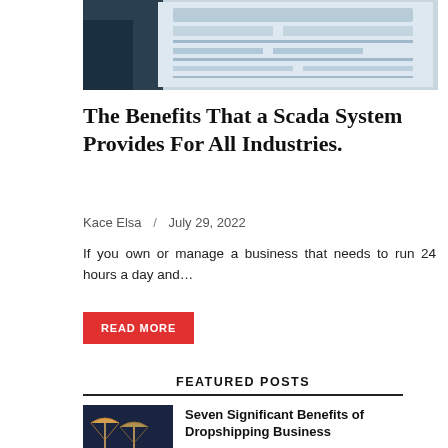[Figure (photo): A person working at a computer monitor showing interface screens, partially cropped.]
The Benefits That a Scada System Provides For All Industries.
Kace Elsa  /  July 29, 2022
If you own or manage a business that needs to run 24 hours a day and…
READ MORE
FEATURED POSTS
[Figure (photo): Illustration showing dropshipping concept with packages and arrows on dark background.]
Seven Significant Benefits of Dropshipping Business
August 16, 2022